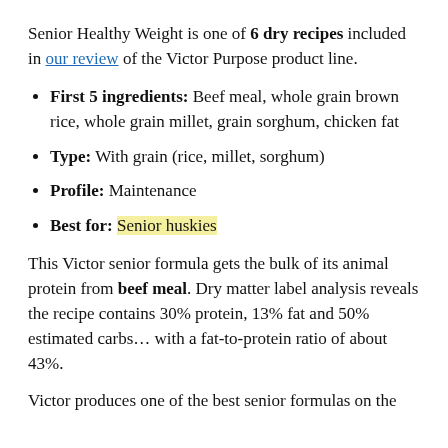Senior Healthy Weight is one of 6 dry recipes included in our review of the Victor Purpose product line.
First 5 ingredients: Beef meal, whole grain brown rice, whole grain millet, grain sorghum, chicken fat
Type: With grain (rice, millet, sorghum)
Profile: Maintenance
Best for: Senior huskies
This Victor senior formula gets the bulk of its animal protein from beef meal. Dry matter label analysis reveals the recipe contains 30% protein, 13% fat and 50% estimated carbs… with a fat-to-protein ratio of about 43%.
Victor produces one of the best senior formulas on the